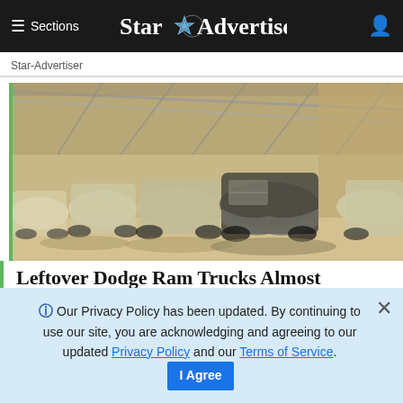≡ Sections  Star Advertiser
Star-Advertiser
[Figure (photo): Row of trucks covered in plastic wrap/tarps stored inside a large warehouse or storage facility with metal roof structure visible above.]
Leftover Dodge Ram Trucks Almost
❶ Our Privacy Policy has been updated. By continuing to use our site, you are acknowledging and agreeing to our updated Privacy Policy and our Terms of Service. I Agree